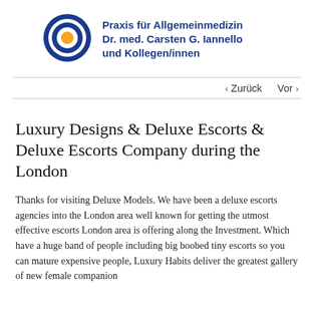[Figure (logo): Circular logo with concentric rings in dark blue and an orange center dot, representing Praxis für Allgemeinmedizin Dr. med. Carsten G. Iannello und Kollegen/innen]
Praxis für Allgemeinmedizin Dr. med. Carsten G. Iannello und Kollegen/innen
‹ Zurück   Vor ›
Luxury Designs & Deluxe Escorts & Deluxe Escorts Company during the London
Thanks for visiting Deluxe Models. We have been a deluxe escorts agencies into the London area well known for getting the utmost effective escorts London area is offering along the Investment. Which have a huge band of people including big boobed tiny escorts so you can mature expensive people, Luxury Habits deliver the greatest gallery of new female companion